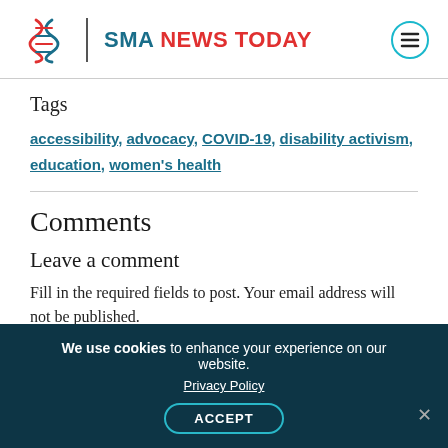[Figure (logo): SMA News Today logo with DNA helix icon, site name in teal and red, hamburger menu icon]
Tags
accessibility, advocacy, COVID-19, disability activism, education, women's health
Comments
Leave a comment
Fill in the required fields to post. Your email address will not be published.
We use cookies to enhance your experience on our website. Privacy Policy ACCEPT